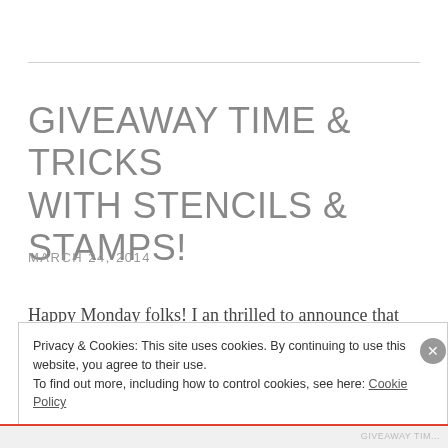GIVEAWAY TIME & TRICKS WITH STENCILS & STAMPS!
MARCH 24, 2014
Happy Monday folks! I an thrilled to announce that Lost Coast Designs and Stencil Girl have teamed up for a blog
Privacy & Cookies: This site uses cookies. By continuing to use this website, you agree to their use.
To find out more, including how to control cookies, see here: Cookie Policy
Close and accept